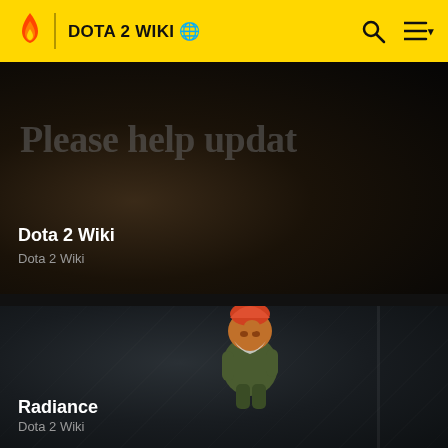DOTA 2 WIKI
[Figure (screenshot): Dark background with faint text 'Please help updat' overlaid, Dota 2 Wiki article card]
Dota 2 Wiki
Dota 2 Wiki
[Figure (screenshot): Dota 2 character (gnome/goblin with orange hair holding a green staff) against stone background, Radiance item page card]
Radiance
Dota 2 Wiki